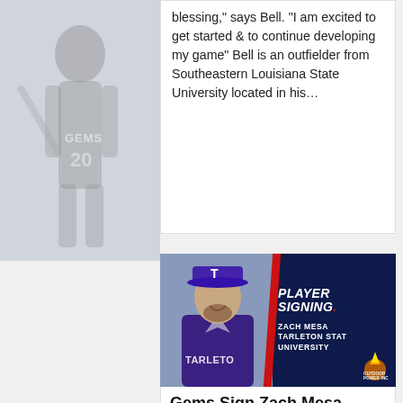blessing, says Bell. I am excited to get started & to continue developing my game" Bell is an outfielder from Southeastern Louisiana State University located in his...
[Figure (photo): Player signing announcement graphic for Zach Mesa from Tarleton State University. Shows a baseball player in purple Tarleton uniform on left, dark navy background on right with bold white italic text 'PLAYER SIGNING', player name 'ZACH MESA' and school 'TARLETON STAT UNIVERSITY'. Red diagonal slash divides the image. Team logo in bottom right corner.]
Gems Sign Zach Mesa
By Quincy Gems | April 3, 2020